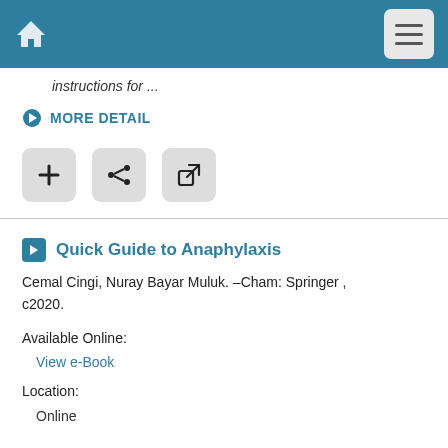Navigation bar with home icon and menu button
instructions for ...
MORE DETAIL
[Figure (other): Three icon buttons: add (+), share (<), and external link]
Quick Guide to Anaphylaxis
Cemal Cingi, Nuray Bayar Muluk. –Cham: Springer , c2020.
Available Online:
View e-Book
Location:
Online